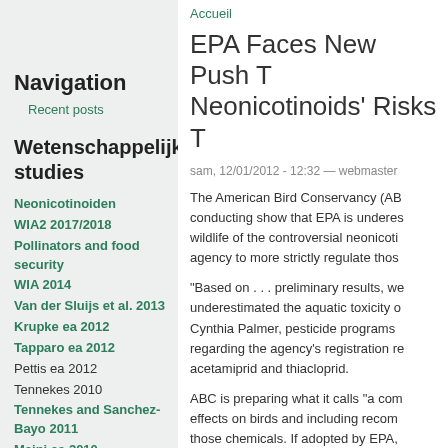Accueil
EPA Faces New Push to Reassess Neonicotinoids' Risks To Wildlife
sam, 12/01/2012 - 12:32 — webmaster
The American Bird Conservancy (ABC) conducting show that EPA is underestimating wildlife of the controversial neonicotinoids, agency to more strictly regulate those
"Based on . . . preliminary results, we underestimated the aquatic toxicity of Cynthia Palmer, pesticide programs regarding the agency's registration re acetamiprid and thiacloprid.
ABC is preparing what it calls "a com effects on birds and including recom those chemicals. If adopted by EPA, another change to how the agency c neonicotinoids. Concerns about the i
Navigation
Recent posts
Wetenschappelijke studies
Neonicotinoiden
WIA2 2017/2018
Pollinators and food security
WIA 2014
Van der Sluijs et al. 2013
Krupke ea 2012
Tapparo ea 2012
Pettis ea 2012
Tennekes 2010
Tennekes and Sanchez-Bayo 2011
Meini ea 2010